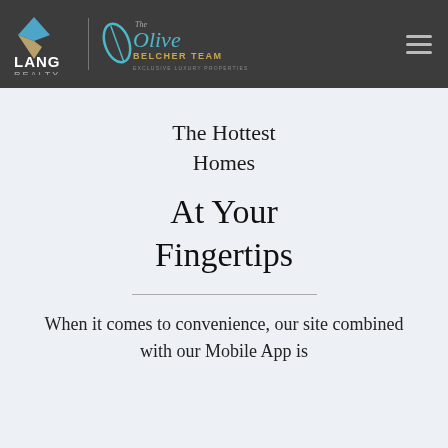Lang Realty | The Olive Belcher Team — Exclusive Luxury Properties
The Hottest Homes
At Your Fingertips
When it comes to convenience, our site combined with our Mobile App is